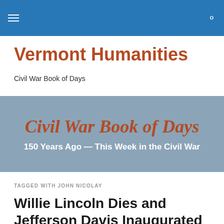Vermont Humanities
Civil War Book of Days
[Figure (illustration): Civil War Book of Days banner with blue-gray background. Large italic bold text 'Civil War Book of Days' in brown/rust color. Below it, white bold text '150 Years Ago — This Week in the Civil War'.]
TAGGED WITH JOHN NICOLAY
Willie Lincoln Dies and Jefferson Davis Inaugurated